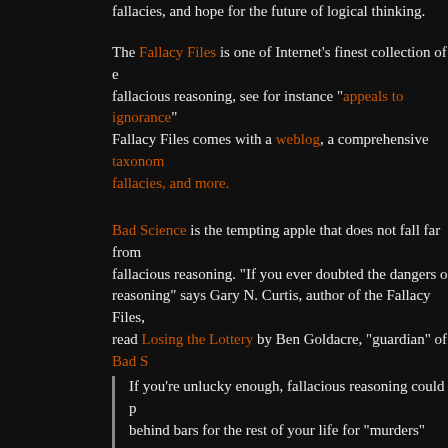fallacies, and hope for the future of logical thinking.
The Fallacy Files is one of Internet's finest collection of examples of fallacious reasoning, see for instance "appeals to ignorance". The Fallacy Files comes with a weblog, a comprehensive taxonomy of fallacies, and more.
Bad Science is the tempting apple that does not fall far from the tree of fallacious reasoning. "If you ever doubted the dangers of fallacious reasoning" says Gary N. Curtis, author of the Fallacy Files, read Losing the Lottery by Ben Goldacre, "guardian" of Bad Science.
If you're unlucky enough, fallacious reasoning could put you behind bars for the rest of your life for "murders" you didn't commit, and which in fact may not be murders at all.
— Gary N. Curtis, Fallacy Files
A nurse called Lucia de Berk has been in prison for 5 years in Holland, convicted of 7 counts of murder and 3 of attempted murder. An unusually large number of people died when she was on shift (…)
— Ben Goldacre, Bad Science
If I myself was only safe from fallacy,